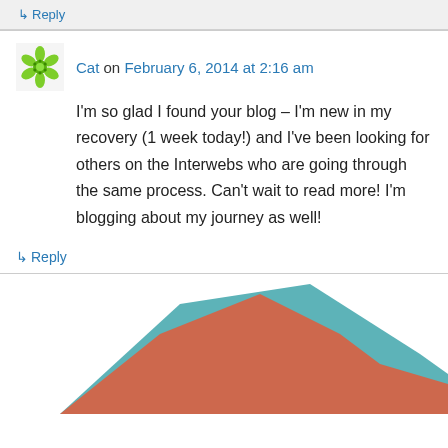↳ Reply
Cat on February 6, 2014 at 2:16 am
I'm so glad I found your blog – I'm new in my recovery (1 week today!) and I've been looking for others on the Interwebs who are going through the same process. Can't wait to read more! I'm blogging about my journey as well!
↳ Reply
[Figure (area-chart): Partial view of an area chart with teal and red/orange overlapping filled areas, chart is cut off at the bottom of the page]